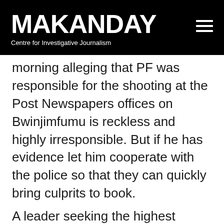MAKANDAY — Centre for Investigative Journalism
morning alleging that PF was responsible for the shooting at the Post Newspapers offices on Bwinjimfumu is reckless and highly irresponsible. But if he has evidence let him cooperate with the police so that they can quickly bring culprits to book.
A leader seeking the highest public office in the land should tame his tongue and avoid misleading the public. Zambians should condemn this propaganda."
10 January 2016: